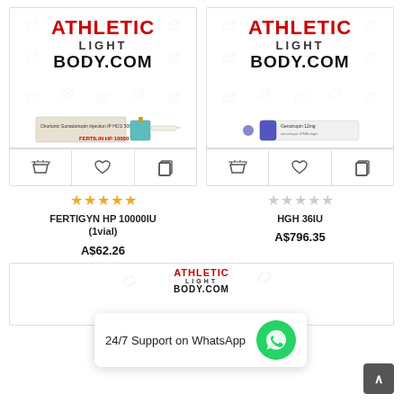[Figure (screenshot): Product card for FERTIGYN HP 10000IU with Athletic Light Body.com watermark background and product image of medicine box]
★★★★★
FERTIGYN HP 10000IU (1vial)
A$62.26
[Figure (screenshot): Product card for HGH 36IU with Athletic Light Body.com watermark background and product image of medicine syringe pen]
☆☆☆☆☆
HGH 36IU
A$796.35
24/7 Support on WhatsApp
[Figure (screenshot): Partial product card row at bottom with Athletic Light Body.com watermark, partially cut off]